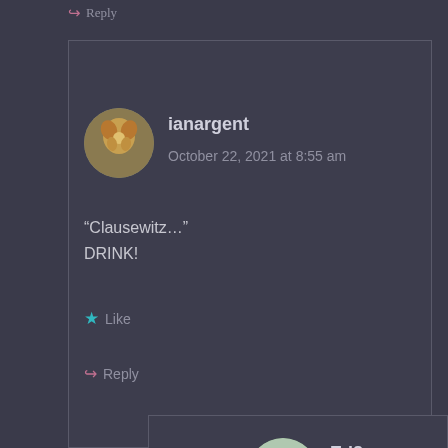↳ Reply
ianargent
October 22, 2021 at 8:55 am
“Clausewitz…”
DRINK!
★ Like
↳ Reply
Ed8r
October 22, 2021 at 10:17 am